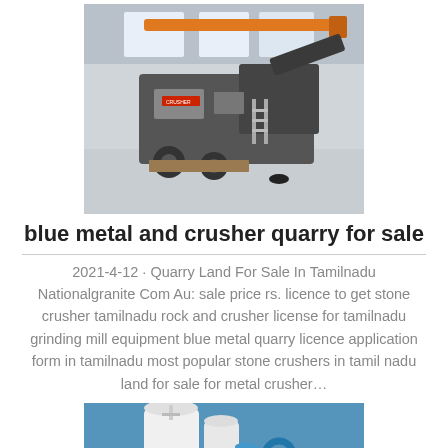[Figure (photo): Mobile stone crusher/quarry machine in an industrial warehouse with orange overhead crane]
blue metal and crusher quarry for sale
2021-4-12 · Quarry Land For Sale In Tamilnadu Nationalgranite Com Au: sale price rs. licence to get stone crusher tamilnadu rock and crusher license for tamilnadu grinding mill equipment blue metal quarry licence application form in tamilnadu most popular stone crushers in tamil nadu land for sale for metal crusher…
[Figure (photo): Industrial silo/tank equipment against a blue sky, partially visible at bottom of page]